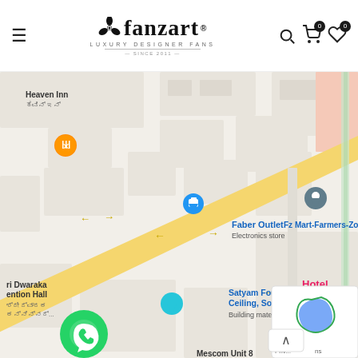fanzart LUXURY DESIGNER FANS SINCE 2011
[Figure (map): Google Maps screenshot showing street map with locations including Heaven Inn, Faber Outlet Electronics store, Fz Mart-Farmers-Zon, ri Dwaraka ention Hall, Satyam Four Wings-VOX Ceiling Somany Building materials store, Hotel, Mescom Unit 8, along Amruth road with a yellow diagonal main road. Various map pins visible in blue, teal, orange, grey, and pink colors. WhatsApp contact button at bottom left. reCAPTCHA widget at bottom right.]